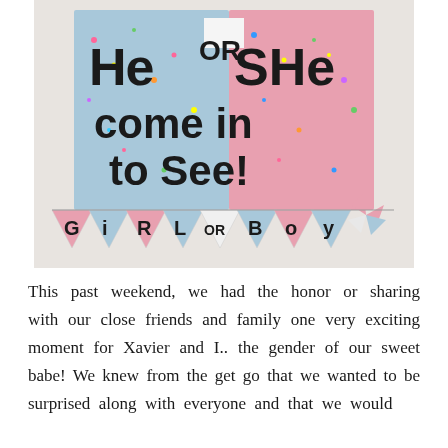[Figure (photo): A gender reveal party decoration photo showing a large poster split diagonally between blue and pink halves reading 'He OR SHe come in to See!' with multicolor confetti dots, and a bunting banner below with pink and blue triangle flags spelling out 'GIRL OR BOY']
This past weekend, we had the honor or sharing with our close friends and family one very exciting moment for Xavier and I.. the gender of our sweet babe! We knew from the get go that we wanted to be surprised along with everyone and that we would